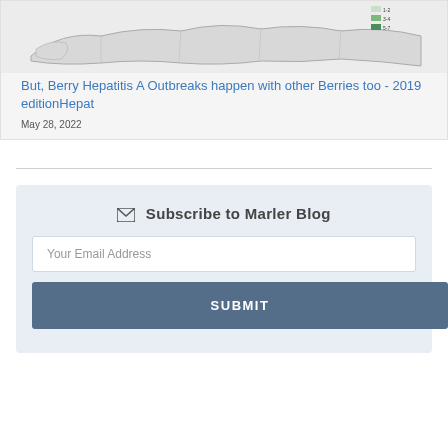[Figure (map): Partial map of the US showing geographic distribution of Hepatitis A outbreaks, with a legend showing outbreak counts: 1-2 (light green), 3-4 (medium green), 5-7 (dark green)]
But, Berry Hepatitis A Outbreaks happen with other Berries too - 2019 editionHepat
May 28, 2022
Subscribe to Marler Blog
Your Email Address
SUBMIT